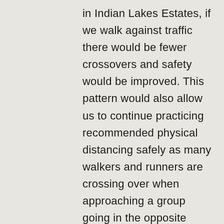in Indian Lakes Estates, if we walk against traffic there would be fewer crossovers and safety would be improved. This pattern would also allow us to continue practicing recommended physical distancing safely as many walkers and runners are crossing over when approaching a group going in the opposite direction on the same side of the road. It is encouraging to see so many of us out walking and exercising during this stay at home period, especially the families, and we want to do everything we can to make sure we are all protected to the greatest extent possible.